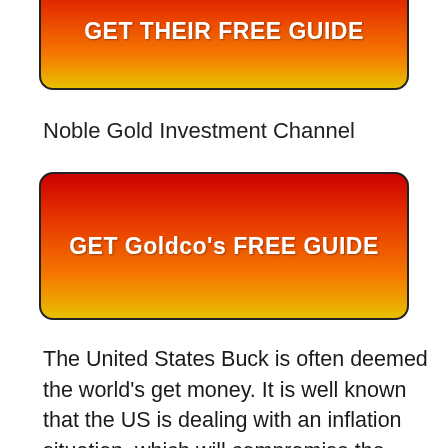[Figure (other): Red-to-gold gradient button with text GET THEIR FREE GUIDE (partially cropped at top)]
Noble Gold Investment Channel
[Figure (other): Red-to-gold gradient button with text GET Goldco's FREE GUIDE]
The United States Buck is often deemed the world's get money. It is well known that the US is dealing with an inflation situation, which will compromise the buying power of the US Dollar. As the power of the book money decreases, people not simply in the United States, but around the world, are likely to group to the safety of gold as well as